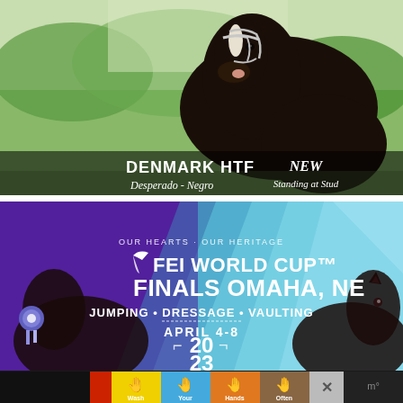[Figure (photo): Advertisement showing a dark bay/black horse in bridle against green background. Text overlay reads DENMARK HTF / Desperado - Negro / NEW / Standing at Stud]
[Figure (infographic): FEI World Cup Finals Omaha NE advertisement. Purple and teal diagonal stripe background with horses on left and right. Text: OUR HEARTS · OUR HERITAGE / FEI WORLD CUP FINALS OMAHA, NE / JUMPING · DRESSAGE · VAULTING / APRIL 4-8 / 2023]
[Figure (infographic): Wash Your Hands Often banner ad with colored hand washing icons on colored backgrounds (yellow, blue, orange, brown). Close button visible.]